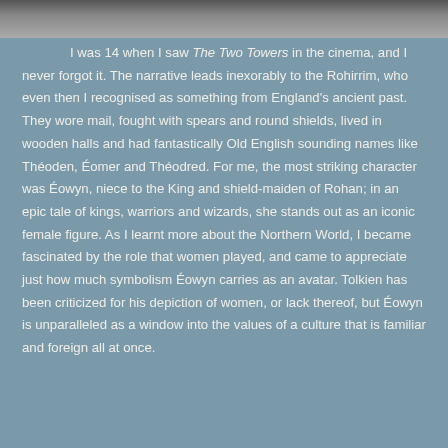[Figure (photo): Partial photograph visible at the top of the page, cropped strip showing a scene.]
I was 14 when I saw The Two Towers in the cinema, and I never forgot it. The narrative leads inexorably to the Rohirrim, who even then I recognised as something from England's ancient past. They wore mail, fought with spears and round shields, lived in wooden halls and had fantastically Old English sounding names like Théoden, Éomer and Théodred. For me, the most striking character was Éowyn, niece to the King and shield-maiden of Rohan; in an epic tale of kings, warriors and wizards, she stands out as an iconic female figure. As I learnt more about the Northern World, I became fascinated by the role that women played, and came to appreciate just how much symbolism Éowyn carries as an avatar. Tolkien has been criticized for his depiction of women, or lack thereof, but Éowyn is unparalleled as a window into the values of a culture that is familiar and foreign all at once.